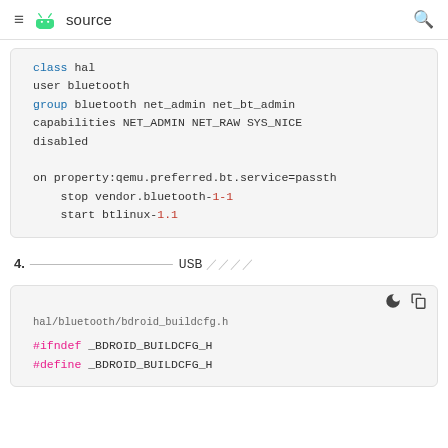≡ [android logo] source [search icon]
class hal
user bluetooth
group bluetooth net_admin net_bt_admin
capabilities NET_ADMIN NET_RAW SYS_NICE
disabled

on property:qemu.preferred.bt.service=passth
    stop vendor.bluetooth-1-1
    start btlinux-1.1
4. [strikethrough text] USB [cjk chars]
hal/bluetooth/bdroid_buildcfg.h

#ifndef _BDROID_BUILDCFG_H
#define _BDROID_BUILDCFG_H